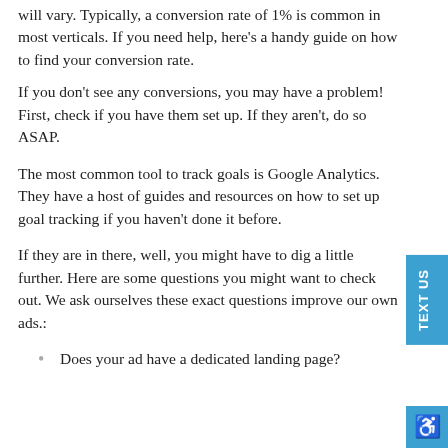will vary. Typically, a conversion rate of 1% is common in most verticals. If you need help, here's a handy guide on how to find your conversion rate.
If you don't see any conversions, you may have a problem! First, check if you have them set up. If they aren't, do so ASAP.
The most common tool to track goals is Google Analytics. They have a host of guides and resources on how to set up goal tracking if you haven't done it before.
If they are in there, well, you might have to dig a little further. Here are some questions you might want to check out. We ask ourselves these exact questions improve our own ads.:
Does your ad have a dedicated landing page?